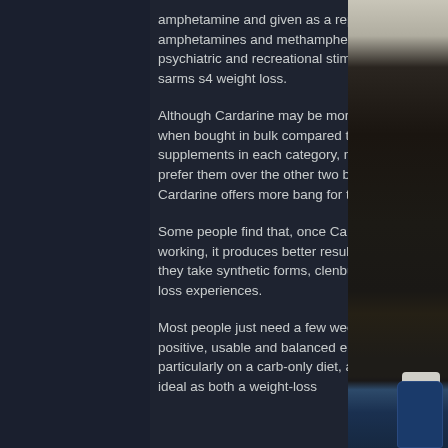amphetamine and given as a replacement for amphetamines and methamphetamine in many psychiatric and recreational stimulant clinics, sarms s4 weight loss.
Although Cardarine may be more expensive when bought in bulk compared to the other two supplements in each category, many people prefer them over the other two because Cardarine offers more bang for their buck.
Some people find that, once Cardarine begins working, it produces better results than when they take synthetic forms, clenbuterol weight loss experiences.
Most people just need a few weeks to get into a positive, usable and balanced energy profile, particularly on a carb-only diet, and Cardarine is ideal as both a weight-loss
[Figure (photo): A dark background photo showing a blue glass bottle with a silver/white cap, placed on a dark textured surface. The upper portion shows a light-colored wall or counter.]